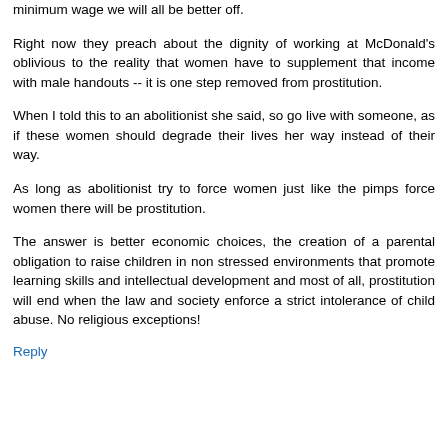minimum wage we will all be better off.
Right now they preach about the dignity of working at McDonald's oblivious to the reality that women have to supplement that income with male handouts -- it is one step removed from prostitution.
When I told this to an abolitionist she said, so go live with someone, as if these women should degrade their lives her way instead of their way.
As long as abolitionist try to force women just like the pimps force women there will be prostitution.
The answer is better economic choices, the creation of a parental obligation to raise children in non stressed environments that promote learning skills and intellectual development and most of all, prostitution will end when the law and society enforce a strict intolerance of child abuse. No religious exceptions!
Reply